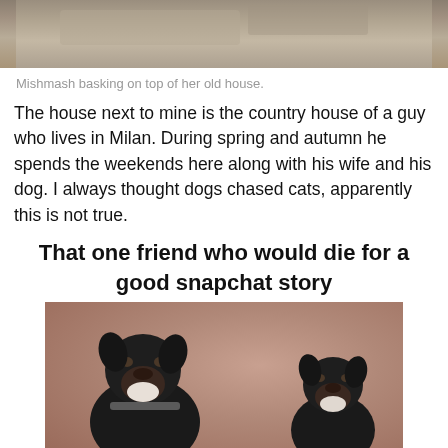[Figure (photo): Photo of a cat (Mishmash) basking on top of a stone house roof, partially cropped at top of page.]
Mishmash basking on top of her old house.
The house next to mine is the country house of a guy who lives in Milan. During spring and autumn he spends the weekends here along with his wife and his dog. I always thought dogs chased cats, apparently this is not true.
[Figure (photo): Meme image showing two Rottweiler dogs running toward camera with mouths open, with bold text above reading 'That one friend who would die for a good snapchat story'.]
That one friend who would die for a good snapchat story